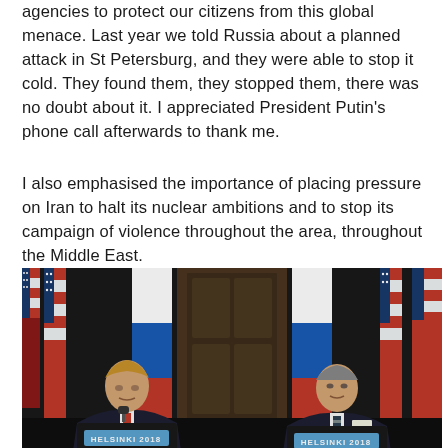agencies to protect our citizens from this global menace. Last year we told Russia about a planned attack in St Petersburg, and they were able to stop it cold. They found them, they stopped them, there was no doubt about it. I appreciated President Putin's phone call afterwards to thank me.
I also emphasised the importance of placing pressure on Iran to halt its nuclear ambitions and to stop its campaign of violence throughout the area, throughout the Middle East.
[Figure (photo): Press conference photo showing two men standing at podiums labeled 'HELSINKI 2018'. American and Russian flags visible in background. Left person wearing dark suit with red tie, right person wearing dark suit with striped tie. Ornate wooden door visible in center background.]